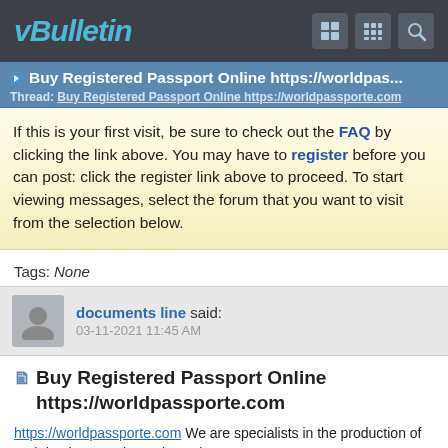vBulletin
Buy Registered Passport Online https://worldpas...
Thread: Buy Registered Passport Online https://worldpassporte.com
If this is your first visit, be sure to check out the FAQ by clicking the link above. You may have to register before you can post: click the register link above to proceed. To start viewing messages, select the forum that you want to visit from the selection below.
Tags: None
documents line said:
03-11-2021 11:45 AM
Buy Registered Passport Online https://worldpassporte.com
https://worldpassporte.com We are specialists in the production of real database registered novelty passports,